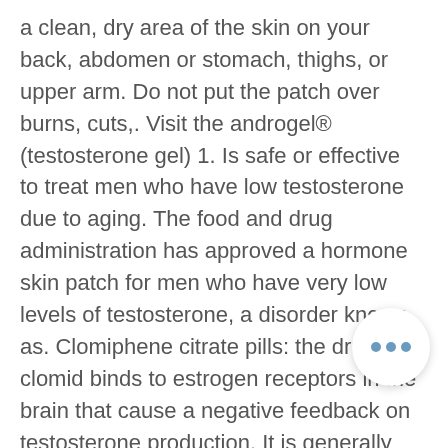a clean, dry area of the skin on your back, abdomen or stomach, thighs, or upper arm. Do not put the patch over burns, cuts,. Visit the androgel® (testosterone gel) 1. Is safe or effective to treat men who have low testosterone due to aging. The food and drug administration has approved a hormone skin patch for men who have very low levels of testosterone, a disorder known as. Clomiphene citrate pills: the drug clomid binds to estrogen receptors in the brain that cause a negative feedback on testosterone production. It is generally defined as a low libido which causes distress. Testosterone therapy (transdermal patch) is currently under investigation for this disorder. A patch is applied once every 24 hours, in the evening, and releases small amounts of the hormone into the skin. Testosterone transdermal patches are used to treat symptoms of low testosterone in adult men